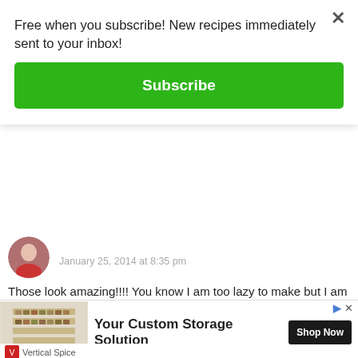Free when you subscribe! New recipes immediately sent to your inbox!
Subscribe
January 25, 2014 at 8:35 pm
Those look amazing!!!! You know I am too lazy to make but I am drooling! 🙂
I LOVE IG!!! I really spend too much time on it & have ti cut back – I posted about that tonight – Saturday night. Much easier than blogging!!!
[Figure (screenshot): Reply button area with chevron down arrow and partial REPLY text]
[Figure (photo): Advertisement showing spice rack storage product from Vertical Spice with text 'Your Custom Storage Solution' and 'Shop Now' button]